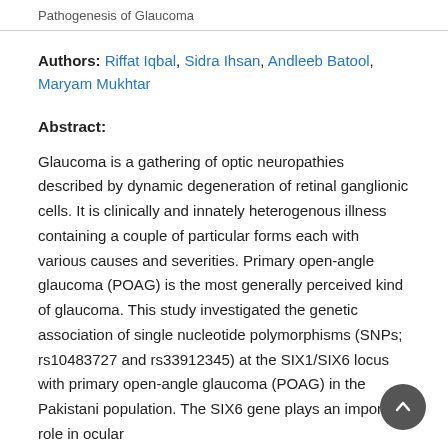Pathogenesis of Glaucoma
Authors: Riffat Iqbal, Sidra Ihsan, Andleeb Batool, Maryam Mukhtar
Abstract:
Glaucoma is a gathering of optic neuropathies described by dynamic degeneration of retinal ganglionic cells. It is clinically and innately heterogenous illness containing a couple of particular forms each with various causes and severities. Primary open-angle glaucoma (POAG) is the most generally perceived kind of glaucoma. This study investigated the genetic association of single nucleotide polymorphisms (SNPs; rs10483727 and rs33912345) at the SIX1/SIX6 locus with primary open-angle glaucoma (POAG) in the Pakistani population. The SIX6 gene plays an important role in ocular